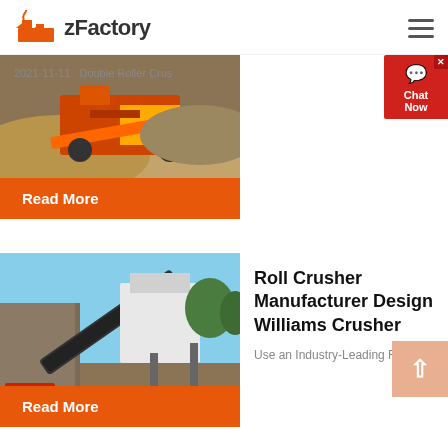zFactory
[Figure (photo): Industrial crusher/screening machine with orange conveyor at a quarry/sand site]
2021-11-11   Double Roller Crus
Read More
[Figure (photo): Roll crusher installation at a mining/quarry site with conveyor belt and rocky terrain]
Roll Crusher Manufacturer Design Williams Crusher
Use an Industry-Leading Roll Cru...
Read More